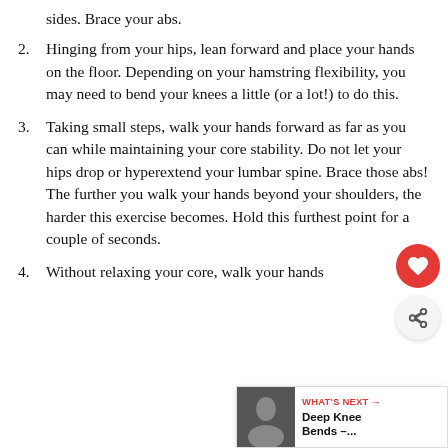sides. Brace your abs.
2. Hinging from your hips, lean forward and place your hands on the floor. Depending on your hamstring flexibility, you may need to bend your knees a little (or a lot!) to do this.
3. Taking small steps, walk your hands forward as far as you can while maintaining your core stability. Do not let your hips drop or hyperextend your lumbar spine. Brace those abs! The further you walk your hands beyond your shoulders, the harder this exercise becomes. Hold this furthest point for a couple of seconds.
4. Without relaxing your core, walk your hands